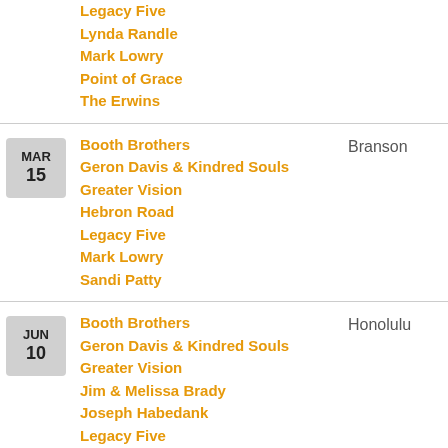Legacy Five
Lynda Randle
Mark Lowry
Point of Grace
The Erwins
MAR 15 — Booth Brothers, Geron Davis & Kindred Souls, Greater Vision, Hebron Road, Legacy Five, Mark Lowry, Sandi Patty — Branson
JUN 10 — Booth Brothers, Geron Davis & Kindred Souls, Greater Vision, Jim & Melissa Brady, Joseph Habedank, Legacy Five, TaRanda Greene, The Hoppers, Triumphant Quartet — Honolulu